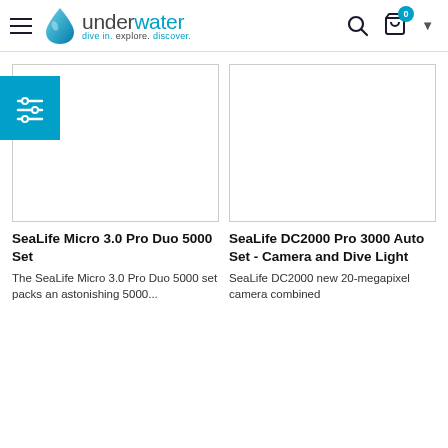underwater — dive in. explore. discover.
[Figure (screenshot): Product image placeholder for SeaLife Micro 3.0 Pro Duo 5000 Set — empty white box with border]
SeaLife Micro 3.0 Pro Duo 5000 Set
The SeaLife Micro 3.0 Pro Duo 5000 set packs an astonishing 5000...
[Figure (screenshot): Product image placeholder for SeaLife DC2000 Pro 3000 Auto Set — empty white box with border]
SeaLife DC2000 Pro 3000 Auto Set - Camera and Dive Light
SeaLife DC2000 new 20-megapixel camera combined